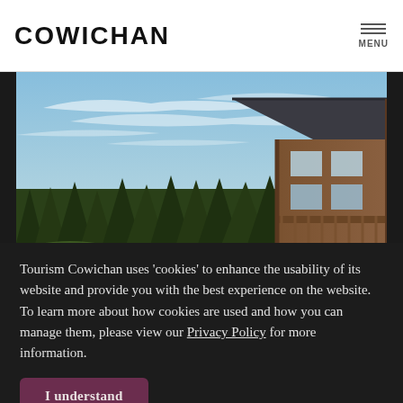COWICHAN  MENU
[Figure (photo): Exterior photo of a rustic timber-frame lodge or vacation home with large windows and a deck, surrounded by tall evergreen trees under a blue sky with wispy clouds and a sunflare at lower left.]
Tourism Cowichan uses ‘cookies’ to enhance the usability of its website and provide you with the best experience on the website. To learn more about how cookies are used and how you can manage them, please view our Privacy Policy for more information.
I understand